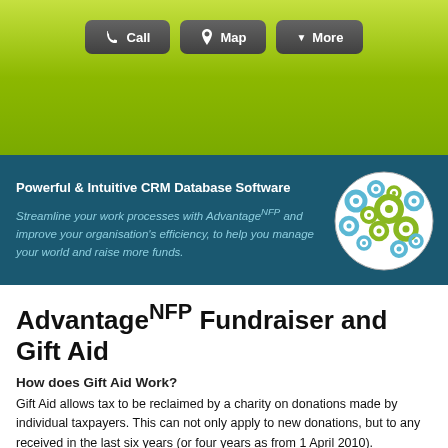[Figure (screenshot): Navigation buttons: Call, Map, More on green background]
Powerful & Intuitive CRM Database Software
Streamline your work processes with AdvantageNFP and improve your organisation's efficiency, to help you manage your world and raise more funds.
AdvantageNFP Fundraiser and Gift Aid
How does Gift Aid Work?
Gift Aid allows tax to be reclaimed by a charity on donations made by individual taxpayers. This can not only apply to new donations, but to any received in the last six years (or four years as from 1 April 2010).
While the basic rate of tax is 20%, a charity can reclaim 25% of the value of any donation.